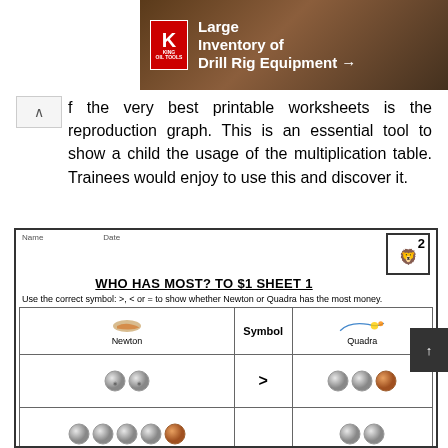[Figure (illustration): Advertisement banner for King Oil Tools showing Large Inventory of Drill Rig Equipment with King logo and background image of drill equipment]
f the very best printable worksheets is the reproduction graph. This is an essential tool to show a child the usage of the multiplication table. Trainees would enjoy to use this and discover it.
[Figure (illustration): Math worksheet titled WHO HAS MOST? TO $1 SHEET 1. Instructions: Use the correct symbol: >, < or = to show whether Newton or Quadra has the most money. Table with Newton column (coins), Symbol column, and Quadra column showing coin comparisons. Row 1: Newton has 2 silver coins, symbol >, Quadra has 2 silver coins and 1 copper coin. Row 2: Newton has 4 silver coins and 1 copper coin, Quadra has 2 silver coins.]
WHO HAS MOST? TO $1 SHEET 1